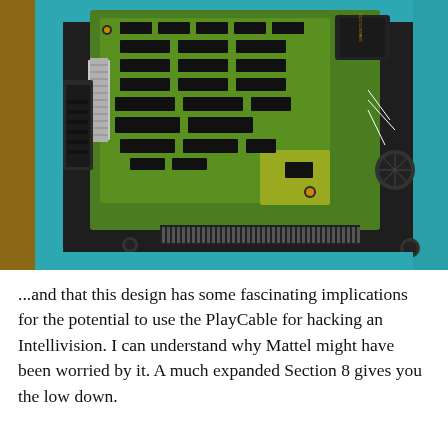[Figure (photo): Photograph of an Intellivision circuit board (green PCB) with numerous black DIP chips arranged in rows, mounted inside a dark plastic console housing sitting on a teal/cyan work mat. A flat ribbon cable or shield is visible on the left side of the board. A black transformer or component is visible in the upper right. The bottom of the housing shows a card-edge connector with many pins.]
...and that this design has some fascinating implications for the potential to use the PlayCable for hacking an Intellivision. I can understand why Mattel might have been worried by it. A much expanded Section 8 gives you the low down.